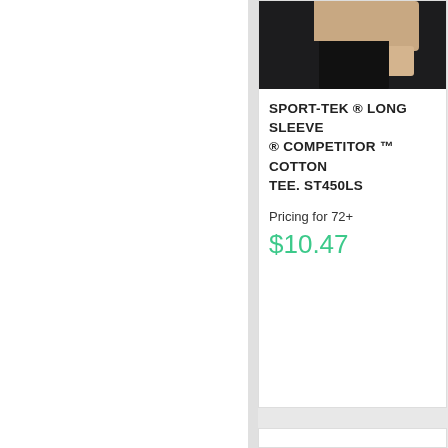[Figure (photo): Partial view of a person wearing dark pants — lower torso and legs visible against white background]
SPORT-TEK ® LONG SLEEVE ® COMPETITOR ™ COTTON TEE. ST450LS
Pricing for 72+
$10.47
[Figure (photo): Man smiling, wearing a black long sleeve crew-neck athletic shirt and dark pants, full torso visible]
SPORT-TEK ® LONG SLEEVE